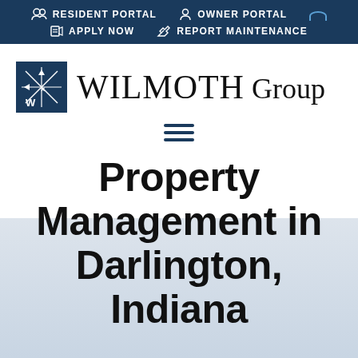RESIDENT PORTAL | OWNER PORTAL | APPLY NOW | REPORT MAINTENANCE
[Figure (logo): WILMOTH Group logo with blue square icon containing compass/arrow graphic and serif text]
[Figure (other): Hamburger menu icon with three horizontal blue lines]
Property Management in Darlington, Indiana